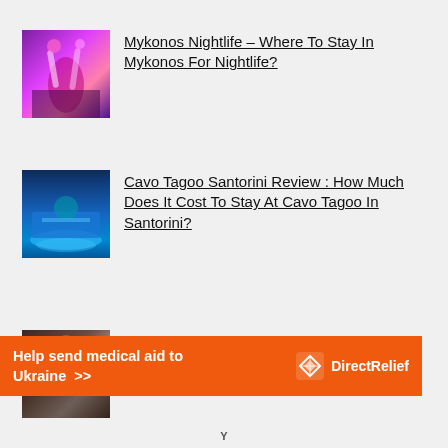Mykonos Nightlife – Where To Stay In Mykonos For Nightlife?
Cavo Tagoo Santorini Review : How Much Does It Cost To Stay At Cavo Tagoo In Santorini?
Best Restaurants in Santorini
[Figure (infographic): Orange advertisement banner: Help send medical aid to Ukraine >> with Direct Relief logo and branding in white text]